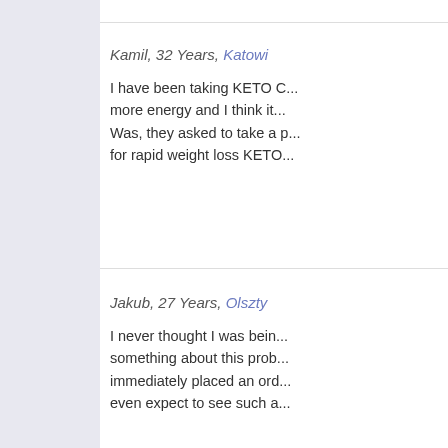Kamil, 32 Years, Katowi...
I have been taking KETO C... more energy and I think it... Was, they asked to take a p... for rapid weight loss KETO...
Jakub, 27 Years, Olszty...
I never thought I was bein... something about this prob... immediately placed an ord... even expect to see such a...